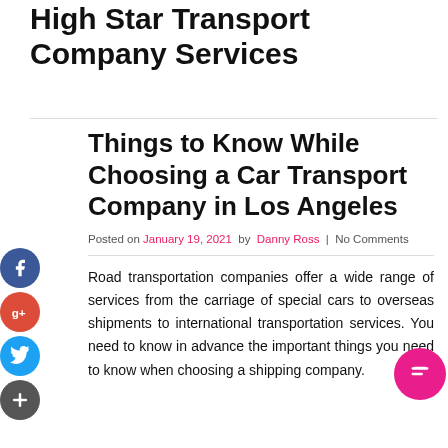High Star Transport Company Services
Things to Know While Choosing a Car Transport Company in Los Angeles
Posted on January 19, 2021 by Danny Ross  No Comments
Road transportation companies offer a wide range of services from the carriage of special cars to overseas shipments to international transportation services. You need to know in advance the important things you need to know when choosing a shipping company.